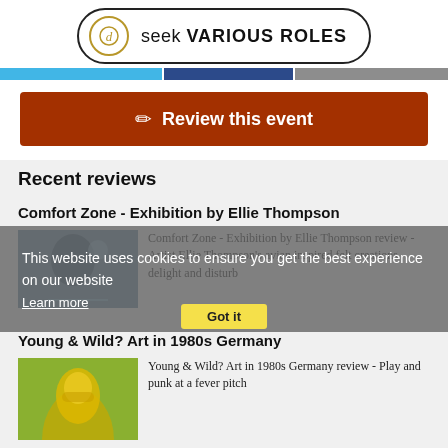seek VARIOUS ROLES
[Figure (screenshot): Navigation color stripe bar: cyan, navy, gray]
[Figure (screenshot): Review this event button (dark red/brown background with pencil icon)]
Recent reviews
Comfort Zone - Exhibition by Ellie Thompson
Comfort Zone - Exhibition by Ellie Thompson review - Artist Ellie Thompson's avian inspired felt creations delight and disturb
This website uses cookies to ensure you get the best experience on our website
Learn more
Young & Wild? Art in 1980s Germany
Young & Wild? Art in 1980s Germany review - Play and punk at a fever pitch